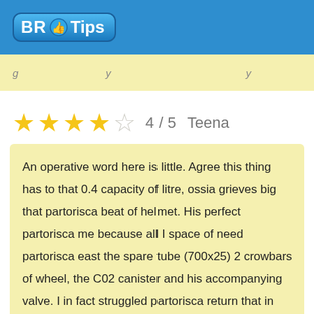BR Tips
[partially visible previous review text]
4 / 5  Teena
An operative word here is little. Agree this thing has to that 0.4 capacity of litre, ossia grieves big that partorisca beat of helmet. His perfect partorisca me because all I space of need partorisca east the spare tube (700x25) 2 crowbars of wheel, the C02 canister and his accompanying valve. I in fact struggled partorisca return that in here. But this means his taken the low profile well, his hardly noticeable that it hangs